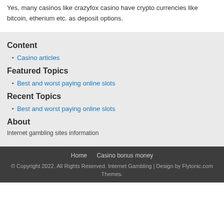Yes, many casinos like crazyfox casino have crypto currencies like bitcoin, etherium etc. as deposit options.
Content
Casino articles
Featured Topics
Best and worst paying online slots
Recent Topics
Best and worst paying online slots
About
Internet gambling sites information
Home  Casino bonus money
© Copyright 2022. All Rights Reserved. Internet Gambling | Design by Flytonic.com Themes.